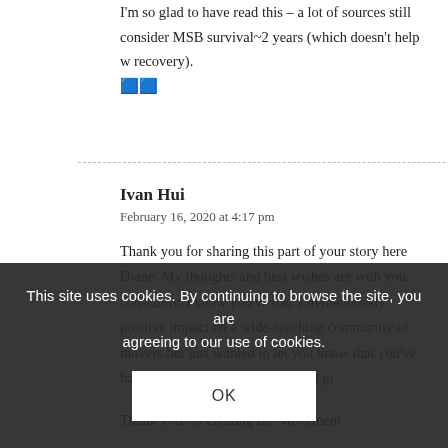I'm so glad to have read this – a lot of sources still consider MSB survival~2 years (which doesn't help w recovery). 🟦🟦
Ivan Hui
February 16, 2020 at 4:17 pm
Thank you for sharing this part of your story here Diane. My thoughts and best wishes are with you constantly. I know you've had a tremendously positive impact on a wide-reaching community of movers but just wanted to let you know that you've had a huge impact on my personal jo…
Thank you for creating the Movement
This site uses cookies. By continuing to browse the site, you are agreeing to our use of cookies.
OK